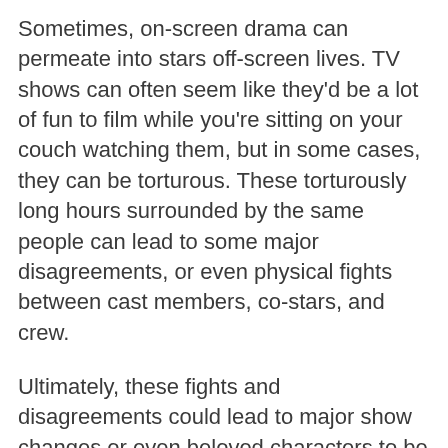Sometimes, on-screen drama can permeate into stars off-screen lives. TV shows can often seem like they'd be a lot of fun to film while you're sitting on your couch watching them, but in some cases, they can be torturous. These torturously long hours surrounded by the same people can lead to some major disagreements, or even physical fights between cast members, co-stars, and crew.
Ultimately, these fights and disagreements could lead to major show changes or even beloved characters to be killed off as their actors are fired. In a few extreme cases, entire shows were ended because of the major conflicts that came between stars and cast and crew members.